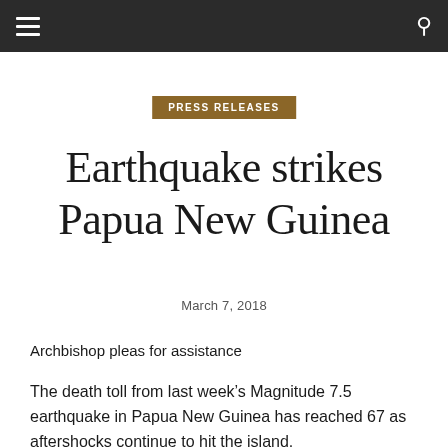≡  🔍
PRESS RELEASES
Earthquake strikes Papua New Guinea
March 7, 2018
Archbishop pleas for assistance
The death toll from last week's Magnitude 7.5 earthquake in Papua New Guinea has reached 67 as aftershocks continue to hit the island.